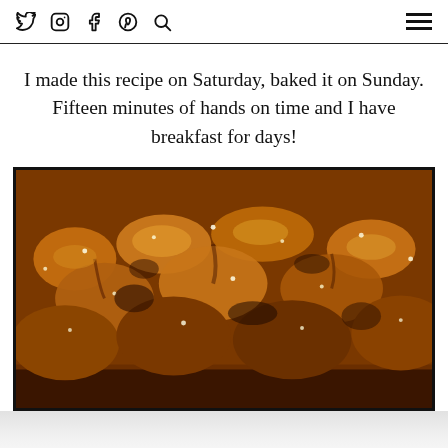Social icons: Twitter, Instagram, Facebook, Pinterest, Search | Hamburger menu
I made this recipe on Saturday, baked it on Sunday. Fifteen minutes of hands on time and I have breakfast for days!
[Figure (photo): Close-up photo of a baked bread pudding casserole in a pan, with golden-brown pieces of bread coated in a sugary glaze with visible sugar crystals on top, shot from a low angle.]